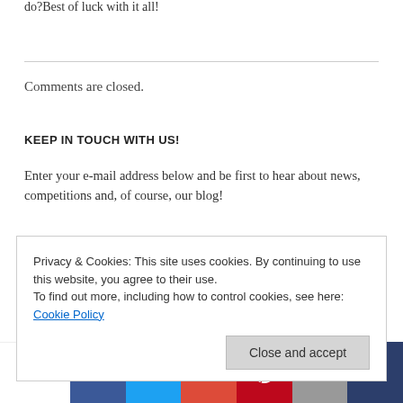do?Best of luck with it all!
Comments are closed.
KEEP IN TOUCH WITH US!
Enter your e-mail address below and be first to hear about news, competitions and, of course, our blog!
Privacy & Cookies: This site uses cookies. By continuing to use this website, you agree to their use.
To find out more, including how to control cookies, see here: Cookie Policy
Shares